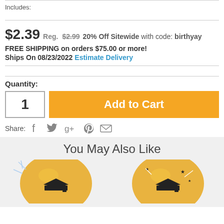Includes:
$2.39  Reg. $2.99  20% Off Sitewide with code: birthyay
FREE SHIPPING on orders $75.00 or more!
Ships On 08/23/2022  Estimate Delivery
Quantity:
Add to Cart
Share:
You May Also Like
[Figure (photo): Two graduation balloon product thumbnails]